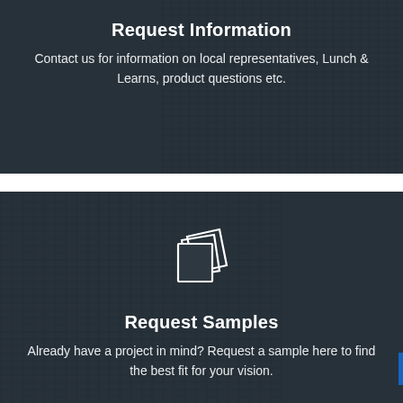Request Information
Contact us for information on local representatives, Lunch & Learns, product questions etc.
[Figure (illustration): Icon of stacked document/sample sheets in white outline style]
Request Samples
Already have a project in mind? Request a sample here to find the best fit for your vision.